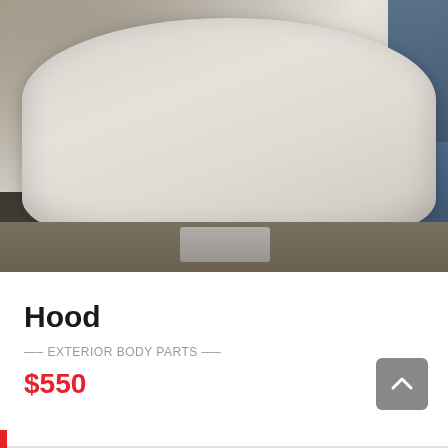[Figure (photo): A large white/gray car hood propped up outdoors in a junkyard setting. The hood is rounded, slightly dirty, with a shadow cast across it from a tree. Blue metal parts and a yellow-green pool of liquid visible to the right. Gravel ground below.]
Hood
—– EXTERIOR BODY PARTS —–
$550